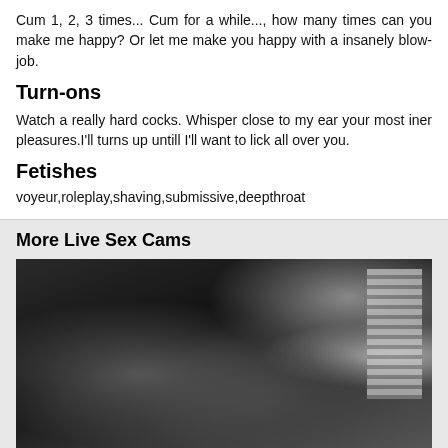Cum 1, 2, 3 times... Cum for a while..., how many times can you make me happy? Or let me make you happy with a insanely blow-job.
Turn-ons
Watch a really hard cocks. Whisper close to my ear your most iner pleasures.I'll turns up untill I'll want to lick all over you.
Fetishes
voyeur,roleplay,shaving,submissive,deepthroat
More Live Sex Cams
[Figure (photo): Black and white photo of a person lying down, with blinds visible in the background on the right side.]